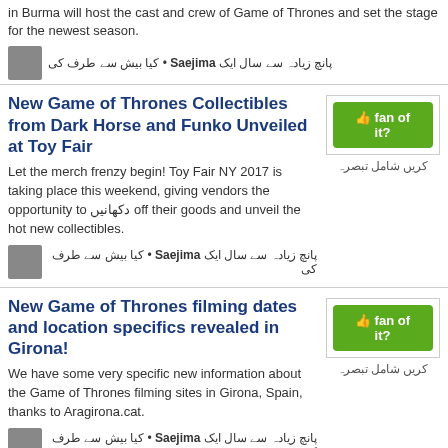in Burma will host the cast and crew of Game of Thrones and set the stage for the newest season.
پانچ زیادہ سے سال ایک Saejima • کیا بیش سے طرف کی
New Game of Thrones Collectibles from Dark Horse and Funko Unveiled at Toy Fair
Let the merch frenzy begin! Toy Fair NY 2017 is taking place this weekend, giving vendors the opportunity to دکھانیں off their goods and unveil the hot new collectibles.
پانچ زیادہ سے سال ایک Saejima • کیا بیش سے طرف کی
New Game of Thrones filming dates and location specifics revealed in Girona!
We have some very specific new information about the Game of Thrones filming sites in Girona, Spain, thanks to Aragirona.cat.
پانچ زیادہ سے سال ایک Saejima • کیا بیش سے طرف کی
New GAME OF THRONES تصاویر Tease a Tense Season Finale
This Sunday brings us the season finale of Game of Thrones Season 5, and HBO has released a few تصاویر from the episode that show a tense confrontation between